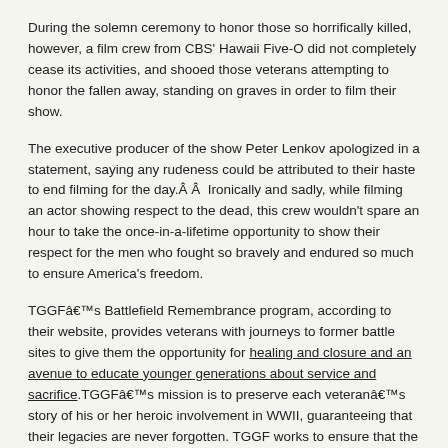During the solemn ceremony to honor those so horrifically killed, however, a film crew from CBS' Hawaii Five-O did not completely cease its activities, and shooed those veterans attempting to honor the fallen away, standing on graves in order to film their show.
The executive producer of the show Peter Lenkov apologized in a statement, saying any rudeness could be attributed to their haste to end filming for the day.Â Â  Ironically and sadly, while filming an actor showing respect to the dead, this crew wouldn't spare an hour to take the once-in-a-lifetime opportunity to show their respect for the men who fought so bravely and endured so much to ensure America's freedom.
TGGFâ€™s Battlefield Remembrance program, according to their website, provides veterans with journeys to former battle sites to give them the opportunity for healing and closure and an avenue to educate younger generations about service and sacrifice.TGGFâ€™s mission is to preserve each veteranâ€™s story of his or her heroic involvement in WWII, guaranteeing that their legacies are never forgotten. TGGF works to ensure that the value of their deeds never be allowed to disappear.
Share this: